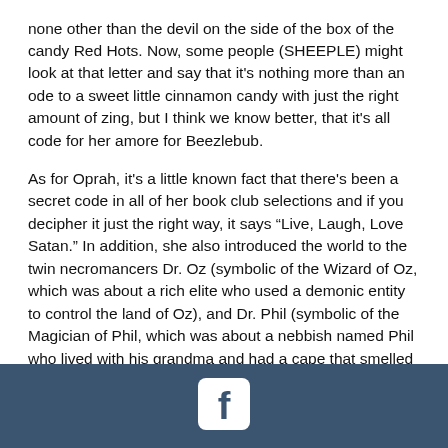none other than the devil on the side of the box of the candy Red Hots. Now, some people (SHEEPLE) might look at that letter and say that it's nothing more than an ode to a sweet little cinnamon candy with just the right amount of zing, but I think we know better, that it's all code for her amore for Beezlebub.

As for Oprah, it's a little known fact that there's been a secret code in all of her book club selections and if you decipher it just the right way, it says “Live, Laugh, Love Satan.” In addition, she also introduced the world to the twin necromancers Dr. Oz (symbolic of the Wizard of Oz, which was about a rich elite who used a demonic entity to control the land of Oz), and Dr. Phil (symbolic of the Magician of Phil, which was about a nebbish named Phil who lived with his grandma and had a cape that smelled like Ben Gay and who did shows down at the Elk’s Lodge using a magic kit he got in the mail from Doug Henning. He tried to grow out a mustache and afro like Henning but he just couldn't pull it off, and his magic career went nowhere. So he became a serial killer! And now you know… THE REST OF THE STORY), and gave her audience free cars, which we all
[Figure (logo): Facebook logo icon (white 'f' on dark blue-grey footer bar)]